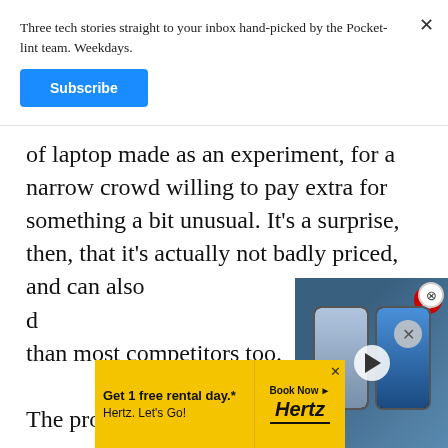Three tech stories straight to your inbox hand-picked by the Pocket-lint team. Weekdays.
Subscribe
of laptop made as an experiment, for a narrow crowd willing to pay extra for something a bit unusual. It's a surprise, then, that it's actually not badly priced, and can also d than most competitors too.
The proper graphics card ma for travelling gamers, the battery life is solid en igh, and w track much
[Figure (screenshot): Video overlay showing two smartphones side by side with a play button in the center, on a blue background]
[Figure (infographic): Hertz advertisement: 'Get 1 free rental day.* Hertz. Let's Go!' with Book Now button on yellow background]